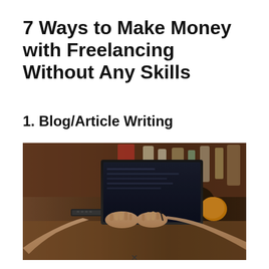7 Ways to Make Money with Freelancing Without Any Skills
1. Blog/Article Writing
[Figure (photo): Person typing on a laptop in a cafe setting with warm ambient lighting, food items and bottles in the background]
×